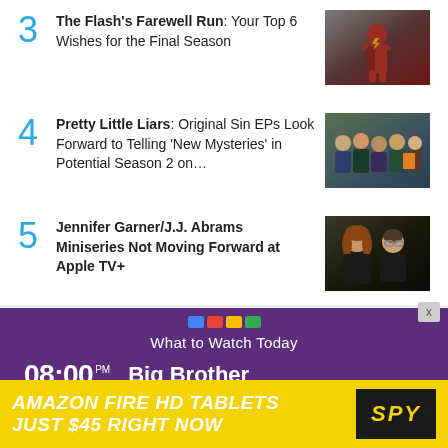3 The Flash's Farewell Run: Your Top 6 Wishes for the Final Season
4 Pretty Little Liars: Original Sin EPs Look Forward to Telling 'New Mysteries' in Potential Season 2 on...
5 Jennifer Garner/J.J. Abrams Miniseries Not Moving Forward at Apple TV+
What to Watch Today
08:00 PM  Big Brother
[Figure (advertisement): Amazon Fire HD Tablets Just $45 Right Now - SPY ad banner in yellow and black]